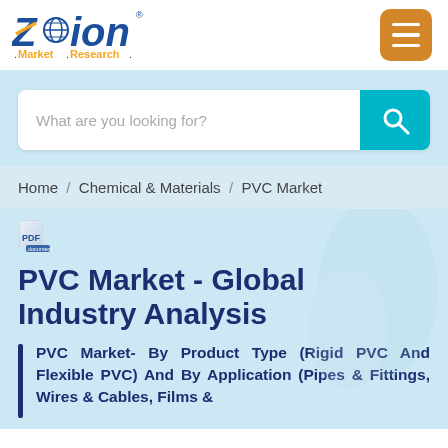[Figure (logo): Zion Market Research logo with globe icon]
What are you looking for?
Home / Chemical & Materials / PVC Market
PVC Market - Global Industry Analysis
PVC Market- By Product Type (Rigid PVC And Flexible PVC) And By Application (Pipes & Fittings, Wires & Cables, Films &